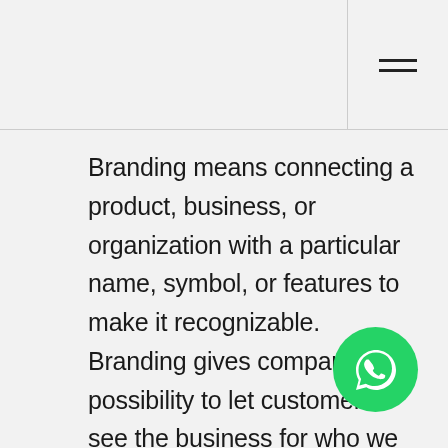[Figure (other): Hamburger menu icon (three horizontal lines) in top-right header area]
Branding means connecting a product, business, or organization with a particular name, symbol, or features to make it recognizable. Branding gives companies the possibility to let customers see the business for who we are.

If you want your business to stand out, branding is crucial. Branding services help create the impact that drives a business to the next level. Idzigns stands as a
[Figure (other): WhatsApp green circular button with phone/chat icon in bottom right corner]